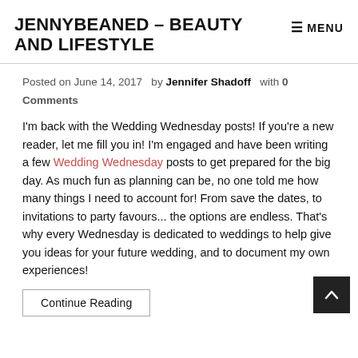JENNYBEANED – BEAUTY AND LIFESTYLE
Posted on June 14, 2017  by  Jennifer Shadoff  with 0 Comments
I'm back with the Wedding Wednesday posts! If you're a new reader, let me fill you in! I'm engaged and have been writing a few Wedding Wednesday posts to get prepared for the big day. As much fun as planning can be, no one told me how many things I need to account for! From save the dates, to invitations to party favours... the options are endless. That's why every Wednesday is dedicated to weddings to help give you ideas for your future wedding, and to document my own experiences!
Continue Reading